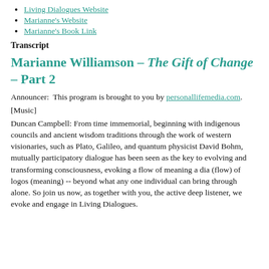Living Dialogues Website
Marianne's Website
Marianne's Book Link
Transcript
Marianne Williamson – The Gift of Change – Part 2
Announcer:  This program is brought to you by personallifemedia.com.
[Music]
Duncan Campbell: From time immemorial, beginning with indigenous councils and ancient wisdom traditions through the work of western visionaries, such as Plato, Galileo, and quantum physicist David Bohm, mutually participatory dialogue has been seen as the key to evolving and transforming consciousness, evoking a flow of meaning a dia (flow) of logos (meaning) -- beyond what any one individual can bring through alone. So join us now, as together with you, the active deep listener, we evoke and engage in Living Dialogues.